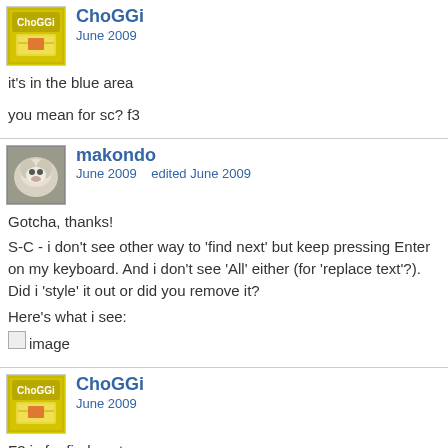[Figure (screenshot): ChoGGi user avatar - yellow/green logo with bread/toast icon]
ChoGGi
June 2009
it's in the blue area

you mean for sc? f3
[Figure (photo): makondo user avatar - white fluffy dog photo]
makondo
June 2009   edited June 2009
Gotcha, thanks!
S-C - i don't see other way to 'find next' but keep pressing Enter on my keyboard. And i don't see 'All' either (for 'replace text'?). Did i 'style' it out or did you remove it?
Here's what i see:
[image]
[Figure (screenshot): ChoGGi user avatar - yellow/green logo with bread/toast icon]
ChoGGi
June 2009
F3 is for find next
once and all should be there (take a look at the screenshot here)